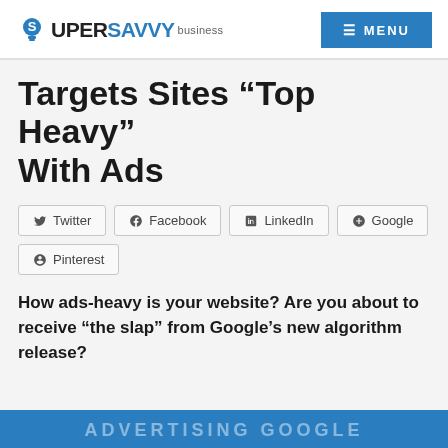SuperSavvy business
Targets Sites “Top Heavy” With Ads
Twitter  Facebook  LinkedIn  Google+  Pinterest
How ads-heavy is your website? Are you about to receive “the slap” from Google’s new algorithm release?
[Figure (other): Blue banner at the bottom with partially visible white text]